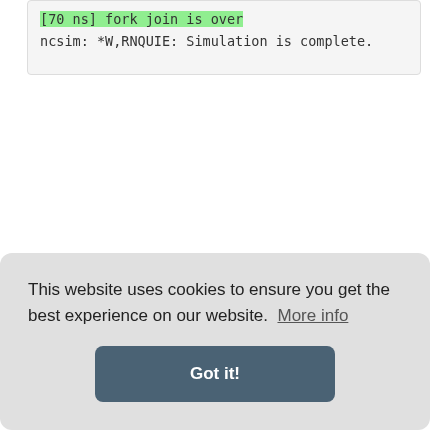[70 ns] fork join is over
ncsim: *W,RNQUIE: Simulation is complete.
This website uses cookies to ensure you get the best experience on our website. More info
Got it!